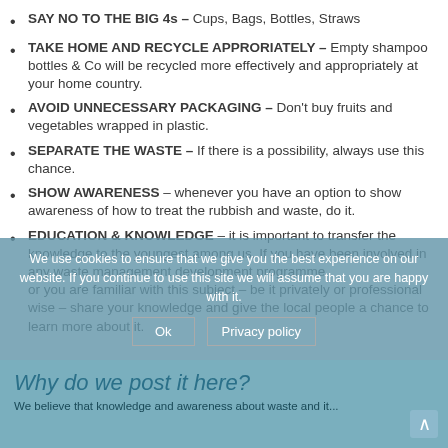SAY NO TO THE BIG 4s – Cups, Bags, Bottles, Straws
TAKE HOME AND RECYCLE APPRORIATELY – Empty shampoo bottles & Co will be recycled more effectively and appropriately at your home country.
AVOID UNNECESSARY PACKAGING – Don't buy fruits and vegetables wrapped in plastic.
SEPARATE THE WASTE – If there is a possibility, always use this chance.
SHOW AWARENESS – whenever you have an option to show awareness of how to treat the rubbish and waste, do it.
EDUCATION & KNOWLEDGE – it is important to transfer the knowledge to the youngest among us. If you have been involved in any waste management development programme or you are familiar with this subject – be it privately or professional wise – share your knowledge and give the local people a chance to learn more about it.
We use cookies to ensure that we give you the best experience on our website. If you continue to use this site we will assume that you are happy with it.
Why do we post it here?
We believe that knowledge and awareness about waste and its...